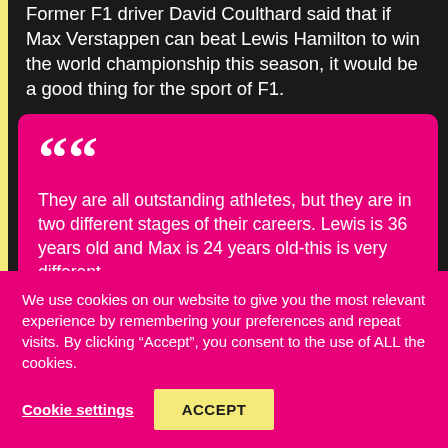Former F1 driver David Coulthard said that if Max Verstappen can beat Lewis Hamilton to win the world championship this season, it would be a good thing for the sport of F1.
They are all outstanding athletes, but they are in two different stages of their careers. Lewis is 36 years old and Max is 24 years old-this is very different.
We use cookies on our website to give you the most relevant experience by remembering your preferences and repeat visits. By clicking “Accept”, you consent to the use of ALL the cookies.
Cookie settings
ACCEPT